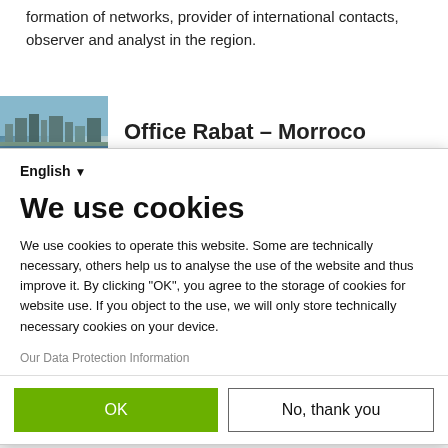formation of networks, provider of international contacts, observer and analyst in the region.
[Figure (photo): Photo of Rabat, Morocco cityscape with water in foreground]
Office Rabat – Morroco
English ▾
We use cookies
We use cookies to operate this website. Some are technically necessary, others help us to analyse the use of the website and thus improve it. By clicking "OK", you agree to the storage of cookies for website use. If you object to the use, we will only store technically necessary cookies on your device.
Our Data Protection Information
OK
No, thank you
Powered by PIWIK PRO